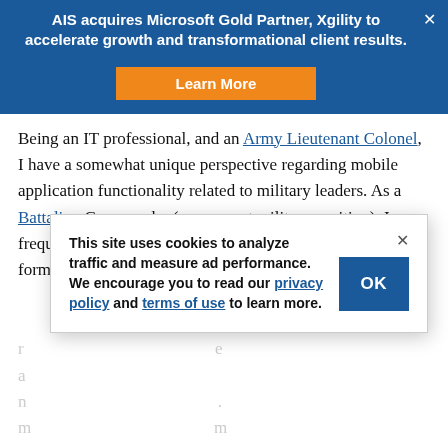AIS acquires Microsoft Gold Partner, Xgility to accelerate growth and transformational client results.
Being an IT professional, and an Army Lieutenant Colonel, I have a somewhat unique perspective regarding mobile application functionality related to military leaders. As a Battalion Commander (my current military position), I frequently need access to various pieces of information and forms while out of the office...
This site uses cookies to analyze traffic and measure ad performance. We encourage you to read our privacy policy and terms of use to learn more.
and don't necessarily want to pull out the laptop.